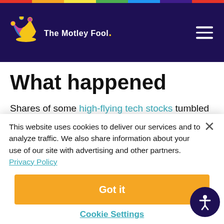The Motley Fool
What happened
Shares of some high-flying tech stocks tumbled on Thursday as the COVID-19 coronavirus pandemic sparked a deep sell-off in the stock market. By 12:50 p.m. EDT, all the major U.S. indexes were
This website uses cookies to deliver our services and to analyze traffic. We also share information about your use of our site with advertising and other partners. Privacy Policy
Got it
Cookie Settings